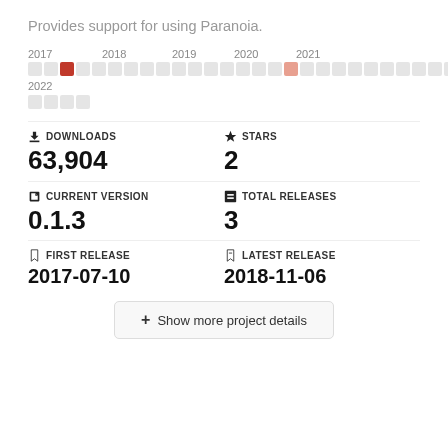Provides support for using Paranoia.
[Figure (other): Activity timeline showing monthly blocks from 2017 to 2022, with highlighted blocks indicating activity in mid-2017 and early 2019.]
DOWNLOADS 63,904
STARS 2
CURRENT VERSION 0.1.3
TOTAL RELEASES 3
FIRST RELEASE 2017-07-10
LATEST RELEASE 2018-11-06
+ Show more project details